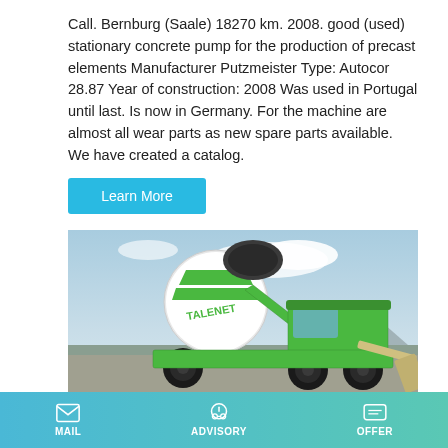Call. Bernburg (Saale) 18270 km. 2008. good (used) stationary concrete pump for the production of precast elements Manufacturer Putzmeister Type: Autocor 28.87 Year of construction: 2008 Was used in Portugal until last. Is now in Germany. For the machine are almost all wear parts as new spare parts available. We have created a catalog.
Learn More
[Figure (photo): A green and white Talenet self-loading concrete mixer truck photographed on a road with a blue sky background.]
MAIL   ADVISORY   OFFER